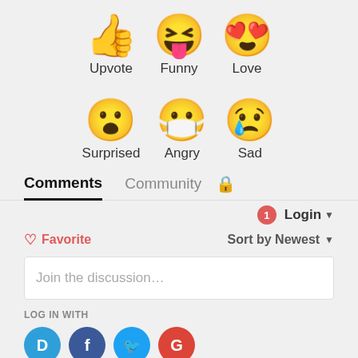[Figure (illustration): Six emoji reaction icons arranged in two rows: Upvote (thumbs up), Funny (laughing with tongue), Love (heart eyes), Surprised (open mouth), Angry (crying with mask), Sad (crying with tear)]
Comments   Community   🔒
1   Login ▼
♡ Favorite   Sort by Newest ▼
Join the discussion...
LOG IN WITH
[Figure (illustration): Four social login icons: Disqus (D), Facebook (f), Twitter (bird), Google (G)]